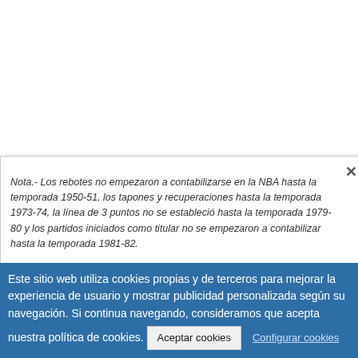Nota.- Los rebotes no empezaron a contabilizarse en la NBA hasta la temporada 1950-51, los tapones y recuperaciones hasta la temporada 1973-74, la línea de 3 puntos no se estableció hasta la temporada 1979-80 y los partidos iniciados como titular no se empezaron a contabilizar hasta la temporada 1981-82.
Otros equipos en la temporada NBA 1991-92
| OTRAS TEMPORADAS DE BOSTON CELTICS |
| --- |
| 1946-47 | 1947-48 | 1948-49 | 1949-50 |
| 1950-51 | 1951-52 | 1952-53 | 1953-54 |
| 1954-55 | 1955-56 | 1956-57 | 1957-58 |
Este sitio web utiliza cookies propias y de terceros para mejorar la experiencia de usuario y mostrar publicidad personalizada según su navegación. Si continua navegando, consideramos que acepta nuestra política de cookies.